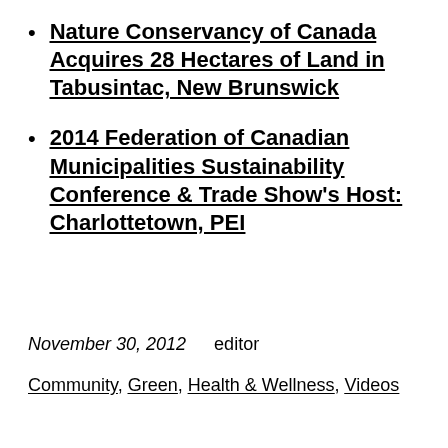Nature Conservancy of Canada Acquires 28 Hectares of Land in Tabusintac, New Brunswick
2014 Federation of Canadian Municipalities Sustainability Conference & Trade Show's Host: Charlottetown, PEI
November 30, 2012    editor
Community, Green, Health & Wellness, Videos